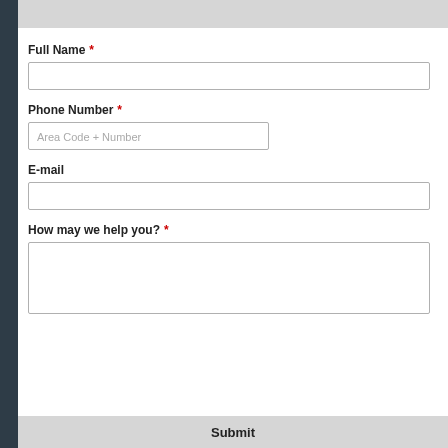Full Name *
Phone Number *
E-mail
How may we help you? *
Submit